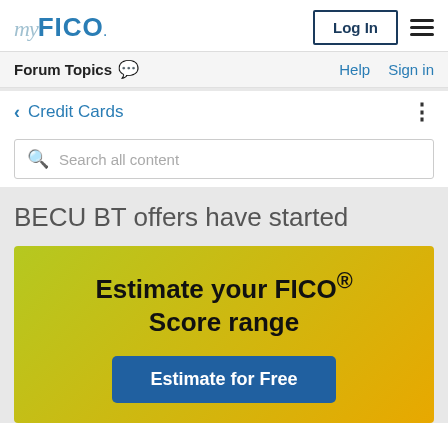myFICO | Log In | ≡
Forum Topics | Help | Sign in
< Credit Cards
Search all content
BECU BT offers have started
[Figure (infographic): Promotional banner with gradient background from yellow-green to yellow-orange. Text reads 'Estimate your FICO® Score range' with a blue button 'Estimate for Free'.]